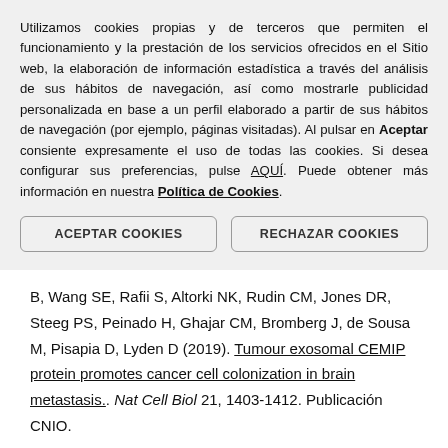Utilizamos cookies propias y de terceros que permiten el funcionamiento y la prestación de los servicios ofrecidos en el Sitio web, la elaboración de información estadística a través del análisis de sus hábitos de navegación, así como mostrarle publicidad personalizada en base a un perfil elaborado a partir de sus hábitos de navegación (por ejemplo, páginas visitadas). Al pulsar en Aceptar consiente expresamente el uso de todas las cookies. Si desea configurar sus preferencias, pulse AQUÍ. Puede obtener más información en nuestra Política de Cookies.
ACEPTAR COOKIES
RECHAZAR COOKIES
B, Wang SE, Rafii S, Altorki NK, Rudin CM, Jones DR, Steeg PS, Peinado H, Ghajar CM, Bromberg J, de Sousa M, Pisapia D, Lyden D (2019). Tumour exosomal CEMIP protein promotes cancer cell colonization in brain metastasis.. Nat Cell Biol 21, 1403-1412. Publicación CNIO.